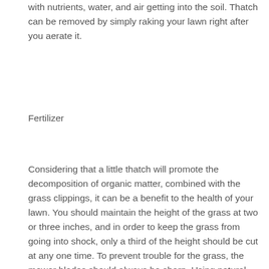with nutrients, water, and air getting into the soil. Thatch can be removed by simply raking your lawn right after you aerate it.
Fertilizer
Considering that a little thatch will promote the decomposition of organic matter, combined with the grass clippings, it can be a benefit to the health of your lawn. You should maintain the height of the grass at two or three inches, and in order to keep the grass from going into shock, only a third of the height should be cut at any one time. To prevent trouble for the grass, the mower blades should always be sharp. Using natural fertilizer is important because it not only puts nutrients into the soil but it will stay longer. Thatch and grass clippings break down far better in organic fertilizer and the best to get is sheep manure.
Make sure to only water your lawn when needed and get